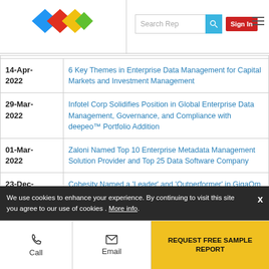[Figure (logo): Colorful diamond/rhombus logo with blue, red, yellow, and green segments]
| Date | Title |
| --- | --- |
| 14-Apr-2022 | 6 Key Themes in Enterprise Data Management for Capital Markets and Investment Management |
| 29-Mar-2022 | Infotel Corp Solidifies Position in Global Enterprise Data Management, Governance, and Compliance with deepeo™ Portfolio Addition |
| 01-Mar-2022 | Zaloni Named Top 10 Enterprise Metadata Management Solution Provider and Top 25 Data Software Company |
| 23-Dec-2021 | Cohesity Named a 'Leader' and 'Outperformer' in GigaOm Radar for Enterprise Scale-Out File Systems -- Data Management Highlighted As a Differentiator |
We use cookies to enhance your experience. By continuing to visit this site you agree to our use of cookies . More info.
REQUEST FREE SAMPLE REPORT